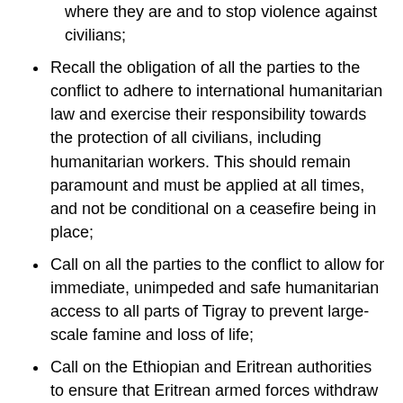where they are and to stop violence against civilians;
Recall the obligation of all the parties to the conflict to adhere to international humanitarian law and exercise their responsibility towards the protection of all civilians, including humanitarian workers. This should remain paramount and must be applied at all times, and not be conditional on a ceasefire being in place;
Call on all the parties to the conflict to allow for immediate, unimpeded and safe humanitarian access to all parts of Tigray to prevent large-scale famine and loss of life;
Call on the Ethiopian and Eritrean authorities to ensure that Eritrean armed forces withdraw from Ethiopia immediately, in line with its previous commitment.
Call upon the international community to scale up its life-saving support in the region, including through humanitarian funding, and to do everything in its